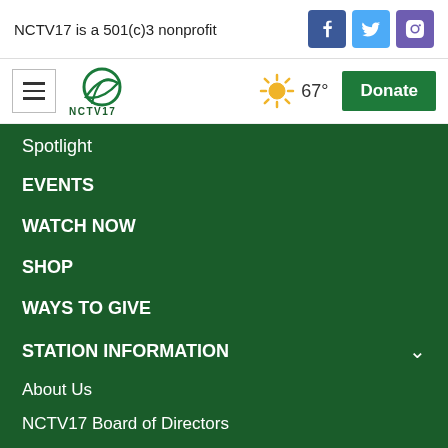NCTV17 is a 501(c)3 nonprofit
[Figure (logo): Facebook, Twitter, Instagram social media icons]
[Figure (logo): NCTV17 logo with green leaf icon and hamburger menu button, weather sun icon showing 67°, and green Donate button]
Spotlight
EVENTS
WATCH NOW
SHOP
WAYS TO GIVE
STATION INFORMATION
About Us
NCTV17 Board of Directors
Staff
Location & Hours